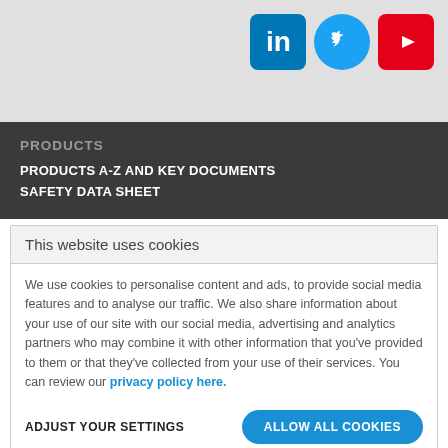[Figure (logo): LinkedIn, Twitter, and YouTube social media icons in top-right of gray header bar]
PRODUCTS
PRODUCTS A-Z AND KEY DOCUMENTS
SAFETY DATA SHEET
This website uses cookies
We use cookies to personalise content and ads, to provide social media features and to analyse our traffic. We also share information about your use of our site with our social media, advertising and analytics partners who may combine it with other information that you've provided to them or that they've collected from your use of their services. You can review our privacy policy here.
ADJUST YOUR SETTINGS
ALLOW ALL COOKIES